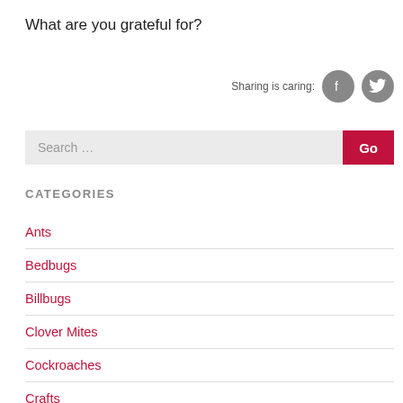What are you grateful for?
[Figure (infographic): Sharing is caring label with Facebook and Twitter social media icons]
Search ...
CATEGORIES
Ants
Bedbugs
Billbugs
Clover Mites
Cockroaches
Crafts
Earwigs